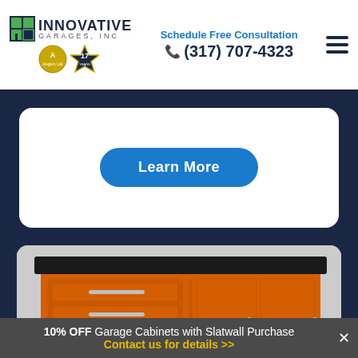INNOVATIVE GARAGES, INC — Schedule Free Consultation (317) 707-4323
[Figure (illustration): White rounded card with a blue 'Learn More' button centered on a dark navy background]
[Figure (photo): Orange garage cabinet unit with black countertop, multiple drawers with metal handles, two cabinet doors, on caster wheels, shown on light gray background]
10% OFF Garage Cabinets with Slatwall Purchase Contact us for details >>